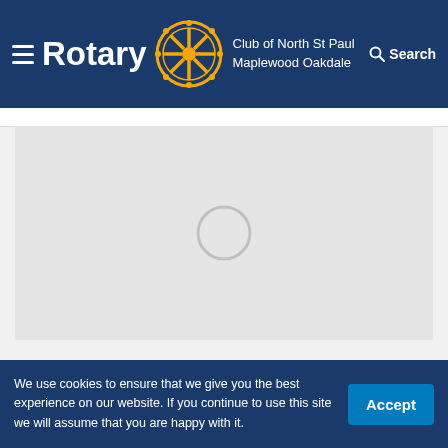Rotary Club of North St Paul Maplewood Oakdale — Search
[Figure (screenshot): Loading spinner placeholder for embedded video content — light gray rectangle with a circular loading indicator in the center]
The Road to Ai-Maulin
Basic Education and Literacy; Economic and
We use cookies to ensure that we give you the best experience on our website. If you continue to use this site we will assume that you are happy with it.